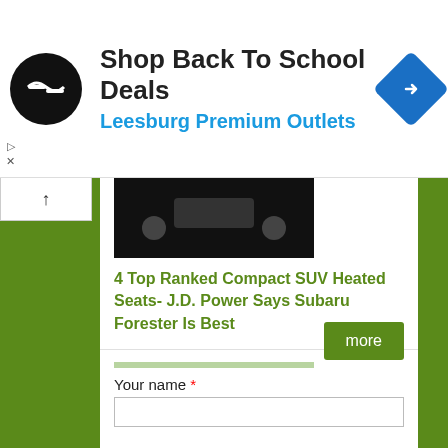[Figure (screenshot): Advertisement banner: black circular logo with double arrow, 'Shop Back To School Deals' headline, 'Leesburg Premium Outlets' subtitle in blue, blue diamond navigation icon on right]
[Figure (photo): Dark overhead photo of hands/steering wheel of a compact SUV]
4 Top Ranked Compact SUV Heated Seats- J.D. Power Says Subaru Forester Is Best
[Figure (photo): Two compact SUV vehicles (white on top, dark/green below) photographed outdoors]
4 Deal Breaking Flaws- CR Says You Won't Regret Buying These 3 Subarus
more
Your name *